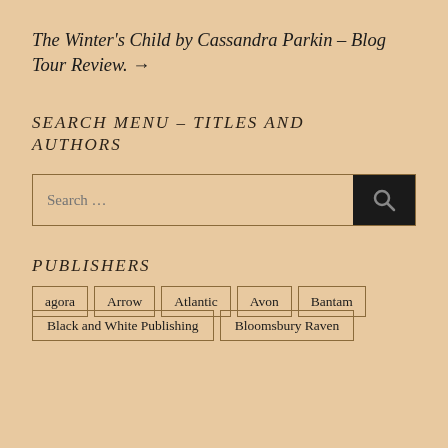The Winter's Child by Cassandra Parkin – Blog Tour Review. →
SEARCH MENU – TITLES AND AUTHORS
[Figure (other): Search input box with magnifying glass button]
PUBLISHERS
agora
Arrow
Atlantic
Avon
Bantam
Black and White Publishing
Bloomsbury Raven